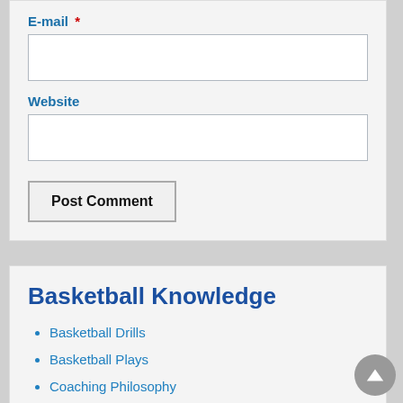E-mail *
Website
Post Comment
Basketball Knowledge
Basketball Drills
Basketball Plays
Coaching Philosophy
Conditioning